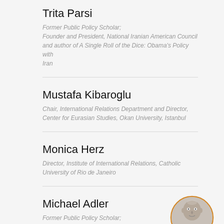Trita Parsi
Former Public Policy Scholar; Founder and President, National Iranian American Council and author of A Single Roll of the Dice: Obama's Policy with Iran
Mustafa Kibaroglu
Chair, International Relations Department and Director, Center for Eurasian Studies, Okan University, Istanbul
Monica Herz
Director, Institute of International Relations, Catholic University of Rio de Janeiro
Michael Adler
Former Public Policy Scholar;
[Figure (photo): Circular portrait photo of Michael Adler with an orange/gold circular border, showing a bald man in a suit]